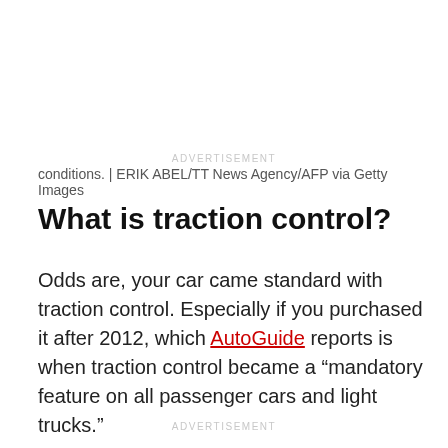ADVERTISEMENT
conditions. | ERIK ABEL/TT News Agency/AFP via Getty Images
What is traction control?
Odds are, your car came standard with traction control. Especially if you purchased it after 2012, which AutoGuide reports is when traction control became a “mandatory feature on all passenger cars and light trucks.”
ADVERTISEMENT